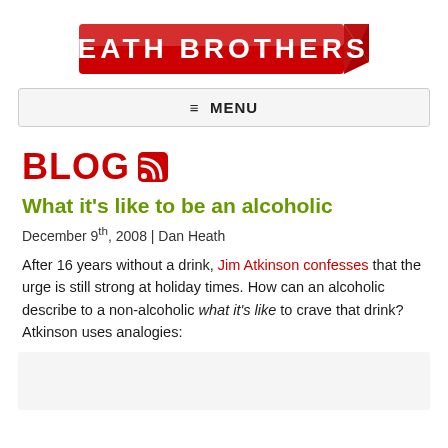[Figure (logo): Heath Brothers red banner logo with white bold text reading HEATH BROTHERS and a folded corner accent]
≡ MENU
BLOG
What it's like to be an alcoholic
December 9th, 2008 | Dan Heath
After 16 years without a drink, Jim Atkinson confesses that the urge is still strong at holiday times. How can an alcoholic describe to a non-alcoholic what it's like to crave that drink? Atkinson uses analogies: